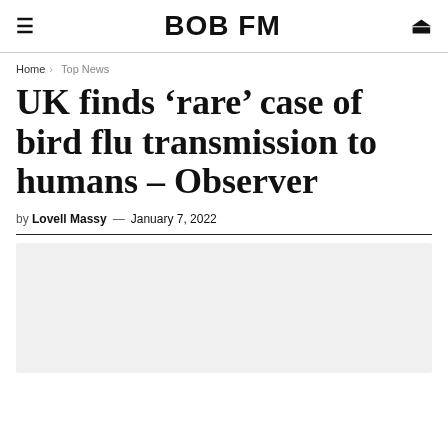BOB FM
Home > Top News
UK finds ‘rare’ case of bird flu transmission to humans – Observer
by Lovell Massy — January 7, 2022
[Figure (photo): Light grey placeholder image area below article header]